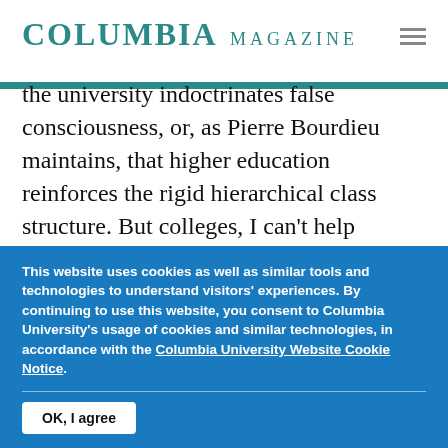COLUMBIA MAGAZINE
the university indoctrinates false consciousness, or, as Pierre Bourdieu maintains, that higher education reinforces the rigid hierarchical class structure. But colleges, I can't help thinking, are not primarily responsible for the ills of society, and to the extent that they provoke critical thinking, they offer a line of resistance. True, my
This website uses cookies as well as similar tools and technologies to understand visitors' experiences. By continuing to use this website, you consent to Columbia University's usage of cookies and similar technologies, in accordance with the Columbia University Website Cookie Notice.
OK, I agree